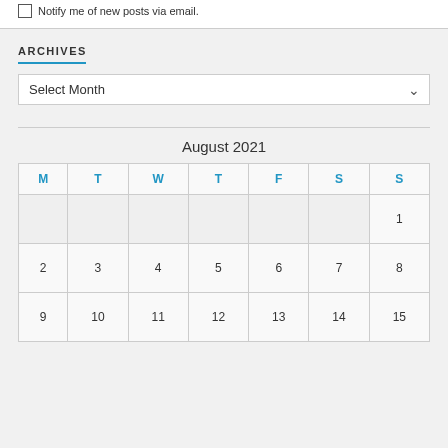Notify me of new posts via email.
ARCHIVES
Select Month
August 2021
| M | T | W | T | F | S | S |
| --- | --- | --- | --- | --- | --- | --- |
|  |  |  |  |  |  | 1 |
| 2 | 3 | 4 | 5 | 6 | 7 | 8 |
| 9 | 10 | 11 | 12 | 13 | 14 | 15 |